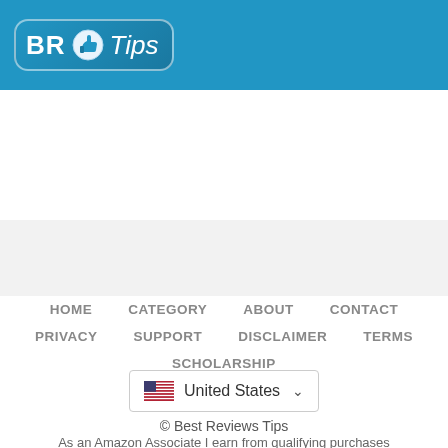[Figure (logo): BR Tips logo with thumbs-up icon on blue background header bar]
HOME   CATEGORY   ABOUT   CONTACT   PRIVACY   SUPPORT   DISCLAIMER   TERMS   SCHOLARSHIP
United States
© Best Reviews Tips
As an Amazon Associate I earn from qualifying purchases